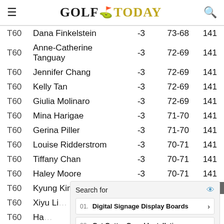GOLF TODAY
| Pos | Name | Score | Rounds | Total |
| --- | --- | --- | --- | --- |
| T60 | Dana Finkelstein | -3 | 73-68 | 141 |
| T60 | Anne-Catherine Tanguay | -3 | 72-69 | 141 |
| T60 | Jennifer Chang | -3 | 72-69 | 141 |
| T60 | Kelly Tan | -3 | 72-69 | 141 |
| T60 | Giulia Molinaro | -3 | 72-69 | 141 |
| T60 | Mina Harigae | -3 | 71-70 | 141 |
| T60 | Gerina Piller | -3 | 71-70 | 141 |
| T60 | Louise Ridderstrom | -3 | 70-71 | 141 |
| T60 | Tiffany Chan | -3 | 70-71 | 141 |
| T60 | Haley Moore | -3 | 70-71 | 141 |
| T60 | Kyung Kim | -3 | 69-72 | 141 |
| T60 | Xiyu Lin | -3 | 69-72 | 141 |
| T60 | Hae... | -3 | ... | 141 |
| T60 | Na... | -3 | ... | 141 |
| T60 | Jeo... | -3 | ... | 141 |
|  | Ariya Jutanugarn | CUT | 74-68 | 142 |